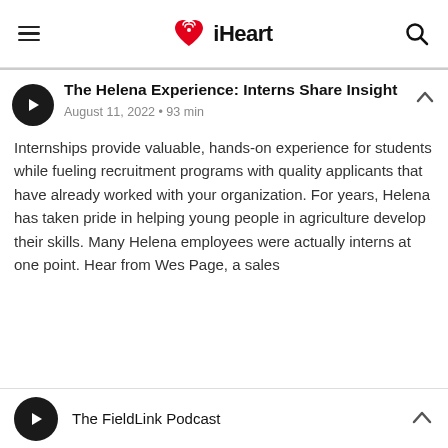[Figure (logo): iHeart logo with hamburger menu icon on left and search icon on right in navigation bar]
The Helena Experience: Interns Share Insight
August 11, 2022 • 93 min
Internships provide valuable, hands-on experience for students while fueling recruitment programs with quality applicants that have already worked with your organization. For years, Helena has taken pride in helping young people in agriculture develop their skills. Many Helena employees were actually interns at one point. Hear from Wes Page, a sales
The FieldLink Podcast